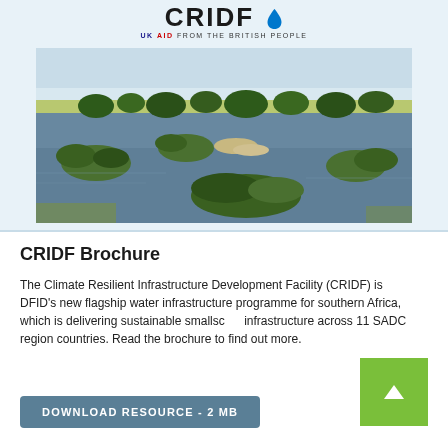[Figure (logo): CRIDF logo with water droplet icon and 'UK AID FROM THE BRITISH PEOPLE' text below]
[Figure (photo): Aerial landscape photograph of wetlands/river delta in southern Africa showing islands of vegetation surrounded by calm water with grasslands in the background]
CRIDF Brochure
The Climate Resilient Infrastructure Development Facility (CRIDF) is DFID's new flagship water infrastructure programme for southern Africa, which is delivering sustainable smallscale infrastructure across 11 SADC region countries. Read the brochure to find out more.
DOWNLOAD RESOURCE - 2 MB